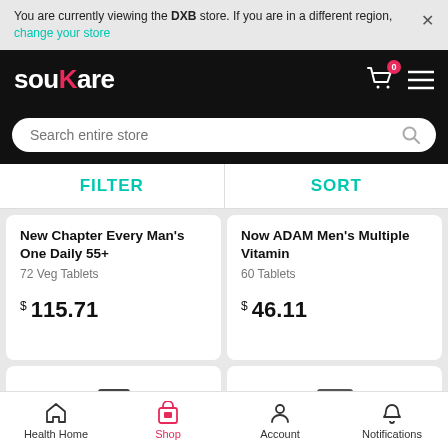You are currently viewing the DXB store. If you are in a different region, change your store
[Figure (screenshot): souKare logo in white and pink on black header with cart icon and menu icon]
Search entire store
FILTER
SORT
New Chapter Every Man's One Daily 55+
72 Veg Tablets
$ 115.71
Now ADAM Men's Multiple Vitamin
60 Tablets
$ 46.11
Health Home  Shop  Account  Notifications